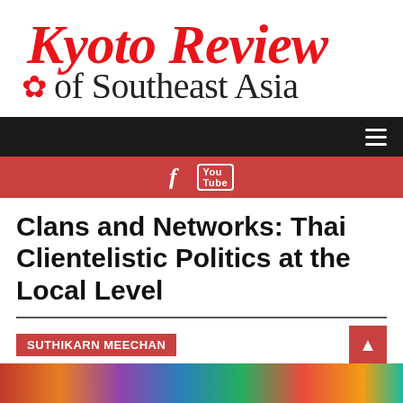[Figure (logo): Kyoto Review of Southeast Asia logo with red italic script 'Kyoto Review' and black serif 'of Southeast Asia' with cherry blossom icon]
Clans and Networks: Thai Clientelistic Politics at the Local Level
SUTHIKARN MEECHAN
[Figure (photo): Colorful image strip at the bottom of the page]